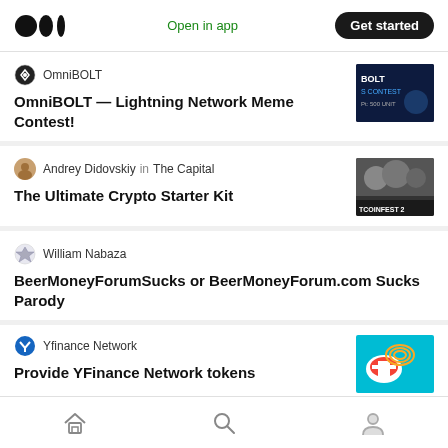Open in app | Get started
OmniBOLT
OmniBOLT — Lightning Network Meme Contest!
Andrey Didovskiy in The Capital
The Ultimate Crypto Starter Kit
William Nabaza
BeerMoneyForumSucks or BeerMoneyForum.com Sucks Parody
Yfinance Network
Provide YFinance Network tokens
Home | Search | Profile